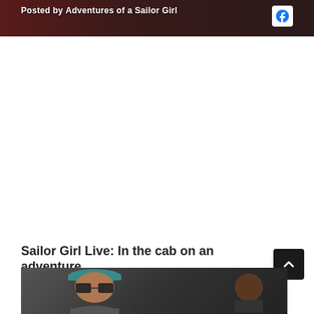[Figure (screenshot): Top portion of a social media video post showing 'Posted by Adventures of a Sailor Girl' with a Facebook icon, dark reddish background]
Sailor Girl Live: In the cab on an adventure
[Figure (photo): Photo of a woman wearing sunglasses and a blue/teal baseball cap sitting in a car, with another person visible in the background on the right]